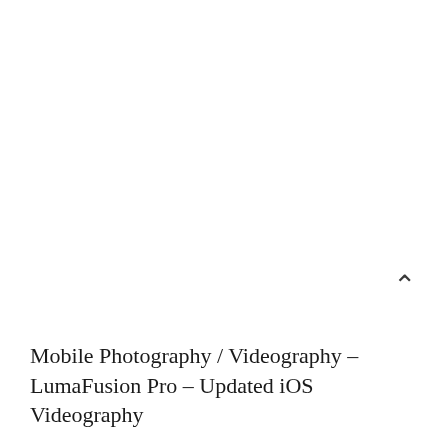[Figure (other): Large white blank area occupying the upper three-quarters of the page, likely a video thumbnail or image placeholder.]
^
Mobile Photography / Videography – LumaFusion Pro – Updated iOS Videography